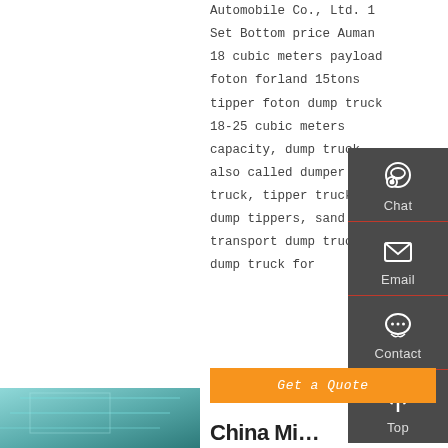Automobile Co., Ltd. 1 Set Bottom price Auman 18 cubic meters payload foton forland 15tons tipper foton dump truck 18-25 cubic meters capacity, dump truck also called dumper truck, tipper truck, dump tippers, sand transport dump truck, dump truck for
[Figure (infographic): Sidebar widget with dark gray background showing Chat (headset icon), Email (envelope icon), Contact (speech bubble icon), and Top (up arrow icon) options, each separated by a red divider line.]
Get a Quote
[Figure (photo): Partial bottom-left thumbnail of a truck or vehicle in teal/green tones]
China Mi...